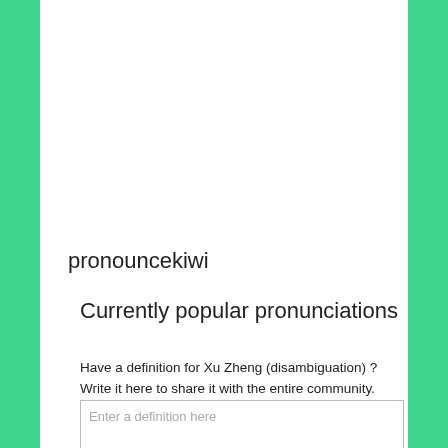pronouncekiwi
Currently popular pronunciations
Have a definition for Xu Zheng (disambiguation) ? Write it here to share it with the entire community.
Enter a definition here
Add Definition